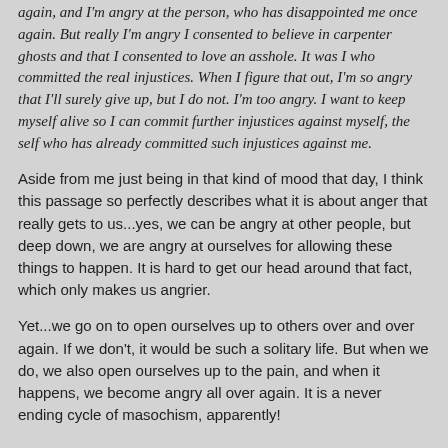again, and I'm angry at the person, who has disappointed me once again. But really I'm angry I consented to believe in carpenter ghosts and that I consented to love an asshole. It was I who committed the real injustices. When I figure that out, I'm so angry that I'll surely give up, but I do not. I'm too angry. I want to keep myself alive so I can commit further injustices against myself, the self who has already committed such injustices against me.
Aside from me just being in that kind of mood that day, I think this passage so perfectly describes what it is about anger that really gets to us...yes, we can be angry at other people, but deep down, we are angry at ourselves for allowing these things to happen. It is hard to get our head around that fact, which only makes us angrier.
Yet...we go on to open ourselves up to others over and over again. If we don't, it would be such a solitary life. But when we do, we also open ourselves up to the pain, and when it happens, we become angry all over again. It is a never ending cycle of masochism, apparently!